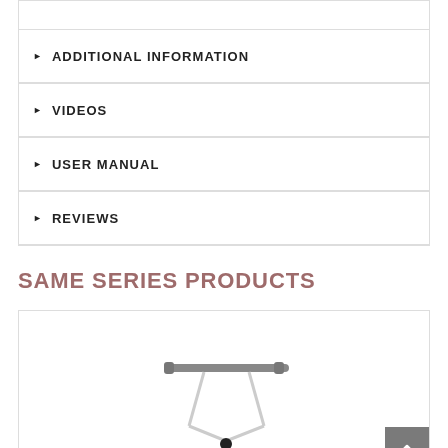ADDITIONAL INFORMATION
VIDEOS
USER MANUAL
REVIEWS
SAME SERIES PRODUCTS
[Figure (photo): Product photo of a medical or engineering instrument resembling a T-bar connector with tubing and a small black component at the bottom, shown against a white background inside a bordered card. A grey 'back to top' button is visible at the bottom right.]